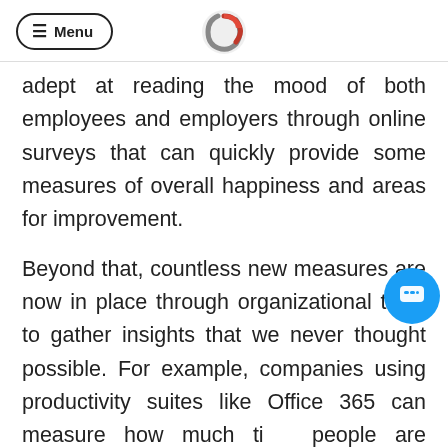≡ Menu
adept at reading the mood of both employees and employers through online surveys that can quickly provide some measures of overall happiness and areas for improvement.
Beyond that, countless new measures are now in place through organizational tools to gather insights that we never thought possible. For example, companies using productivity suites like Office 365 can measure how much time people are spending in meetings, their working hours, how many people they communicate with, how often they meet with managers and teammates, how much time they spend on the